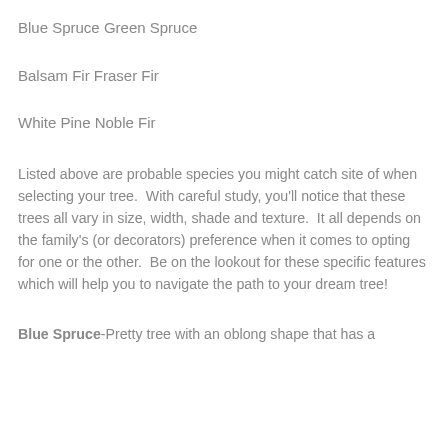Blue Spruce Green Spruce
Balsam Fir Fraser Fir
White Pine Noble Fir
Listed above are probable species you might catch site of when selecting your tree.  With careful study, you'll notice that these trees all vary in size, width, shade and texture.  It all depends on the family's (or decorators) preference when it comes to opting for one or the other.  Be on the lookout for these specific features which will help you to navigate the path to your dream tree!
Blue Spruce-Pretty tree with an oblong shape that has a